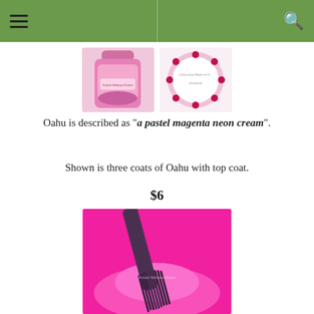[Figure (photo): Two nail polish product photos: left shows pink nail polish bottle labeled 'Polish Without Polish', right shows a circular cap/lid with dark pink polka dot border]
Oahu is described as "a pastel magenta neon cream".
Shown is three coats of Oahu with top coat.
$6
[Figure (photo): Close-up photo of a nail polish brush applicator dipped in bright hot pink/magenta nail polish, showing the bristles fanned out against a neon pink background]